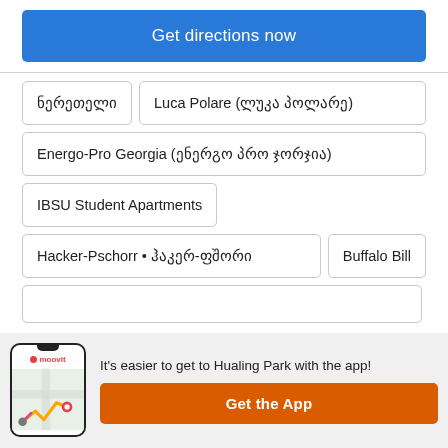Get directions now
ნერეთელი
Luca Polare (ლუკა პოლარე)
Energo-Pro Georgia (ენერგო პრო ჯორჯია)
IBSU Student Apartments
Hacker-Pschorr • ჰაკერ-ფშორი
Buffalo Bill
It's easier to get to Hualing Park with the app!
Get the App